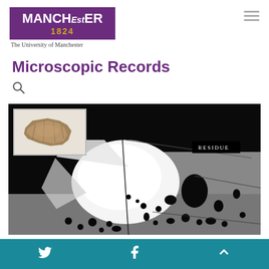[Figure (logo): University of Manchester logo: purple badge with MANCHESTER 1824 text in white and gold, with subtitle 'The University of Manchester']
Microscopic Records
[Figure (photo): Microscopic cross-section image showing a grayscale SEM or BSE micrograph with a large bright oval void/cavity in the center-left, surrounded by darker matrix with numerous black voids and pores. An inset thumbnail in the upper-left shows a small brown/tan artifact fragment. A label reading 'RESIDUE' appears in the upper right area of the main image.]
Twitter | Facebook | Scroll to top